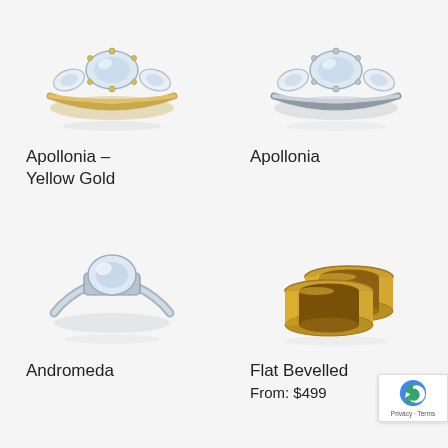[Figure (photo): Apollonia Yellow Gold diamond ring - three stone ring with yellow gold band]
Apollonia – Yellow Gold
[Figure (photo): Apollonia white gold/platinum diamond ring - three stone ring with silver band]
Apollonia
[Figure (photo): Andromeda solitaire diamond ring with white gold/silver band]
Andromeda
[Figure (photo): Flat Bevelled yellow gold wedding band set - two matching gold bands]
Flat Bevelled
From: $499